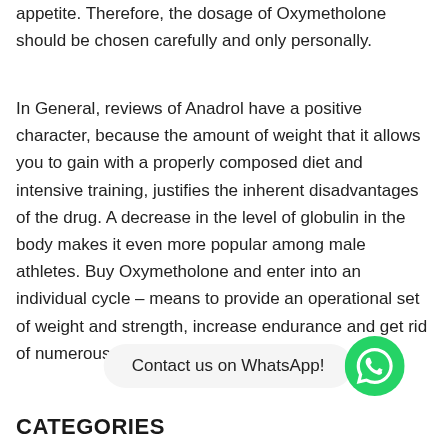appetite. Therefore, the dosage of Oxymetholone should be chosen carefully and only personally.
In General, reviews of Anadrol have a positive character, because the amount of weight that it allows you to gain with a properly composed diet and intensive training, justifies the inherent disadvantages of the drug. A decrease in the level of globulin in the body makes it even more popular among male athletes. Buy Oxymetholone and enter into an individual cycle – means to provide an operational set of weight and strength, increase endurance and get rid of numerous problems with the joints.
[Figure (infographic): WhatsApp contact button with green WhatsApp icon circle on the right]
CATEGORIES